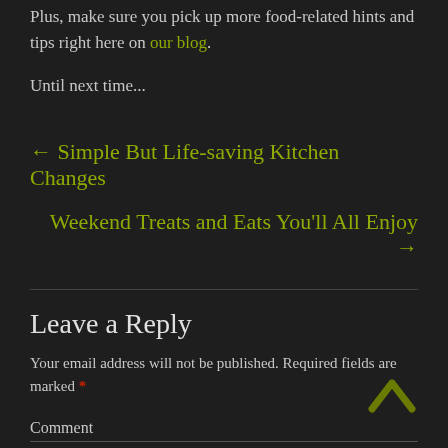Plus, make sure you pick up more food-related hints and tips right here on our blog.
Until next time...
← Simple But Life-saving Kitchen Changes
Weekend Treats and Eats You'll All Enjoy →
Leave a Reply
Your email address will not be published. Required fields are marked *
Comment